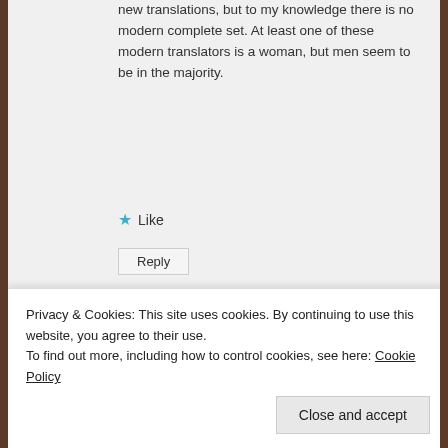new translations, but to my knowledge there is no modern complete set. At least one of these modern translators is a woman, but men seem to be in the majority.
Like
Reply
Advertisements
[Figure (illustration): Fandom on Tumblr advertisement banner with orange-to-purple gradient background and white doodles of music notes, stars, hearts, and other icons. Text reads FANDOM ON tumblr.]
REPORT THIS AD
Jerome Solberg says:
Privacy & Cookies: This site uses cookies. By continuing to use this website, you agree to their use.
To find out more, including how to control cookies, see here: Cookie Policy
Close and accept